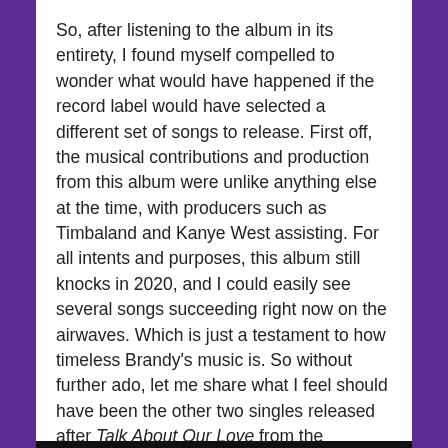So, after listening to the album in its entirety, I found myself compelled to wonder what would have happened if the record label would have selected a different set of songs to release. First off, the musical contributions and production from this album were unlike anything else at the time, with producers such as Timbaland and Kanye West assisting. For all intents and purposes, this album still knocks in 2020, and I could easily see several songs succeeding right now on the airwaves. Which is just a testament to how timeless Brandy's music is. So without further ado, let me share what I feel should have been the other two singles released after Talk About Our Love from the Afrodisiac project.
I Tried